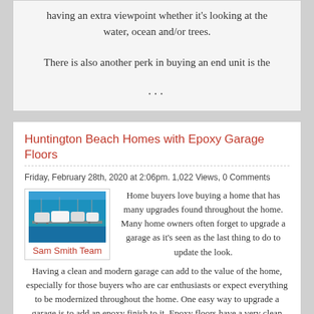having an extra viewpoint whether it's looking at the water, ocean and/or trees.
There is also another perk in buying an end unit is the
...
Huntington Beach Homes with Epoxy Garage Floors
Friday, February 28th, 2020 at 2:06pm. 1,022 Views, 0 Comments
[Figure (photo): Marina/harbor photo showing boats docked, blue sky background. Author credit: Sam Smith Team]
Home buyers love buying a home that has many upgrades found throughout the home.  Many home owners often forget to upgrade a garage as it's seen as the last thing to do to update the look.  Having a clean and modern garage can add to the value of the home, especially for those buyers who are car enthusiasts or expect everything to be modernized throughout the home.  One easy way to upgrade a garage is to add an epoxy finish to it.  Epoxy floors have a very clean look with a variety of colors that one can choose from.  Once complete,